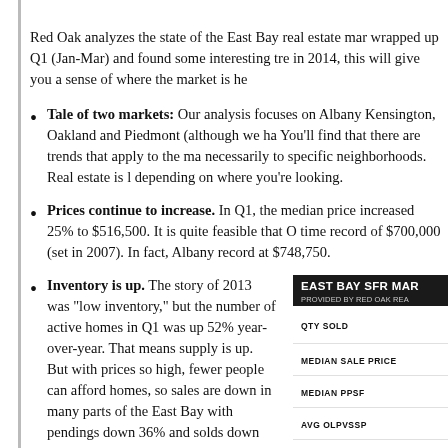Red Oak analyzes the state of the East Bay real estate market as we wrapped up Q1 (Jan-Mar) and found some interesting trends. If you're in 2014, this will give you a sense of where the market is headed.
Tale of two markets: Our analysis focuses on Albany, Kensington, Oakland and Piedmont (although we have data for more). You'll find that there are trends that apply to the market, but not necessarily to specific neighborhoods. Real estate is local, depending on where you're looking.
Prices continue to increase. In Q1, the median price increased 25% to $516,500. It is quite feasible that Oakland will hit its all-time record of $700,000 (set in 2007). In fact, Albany already set a new record at $748,750.
Inventory is up. The story of 2013 was “low inventory,” but the number of active homes in Q1 was up 52% year-over-year. That means supply is up. But with prices so high, fewer people can afford homes, so sales are down in many parts of the East Bay with pendings down 36% and solds down 14%. With this increase in
| EAST BAY SFR MARKET |  |
| --- | --- |
| QTY SOLD |  |
| MEDIAN SALE PRICE |  |
| MEDIAN PPSF |  |
| AVG OLPVSSP |  |
| AVG DOM |  |
| AVG QTY ACTIVE |  |